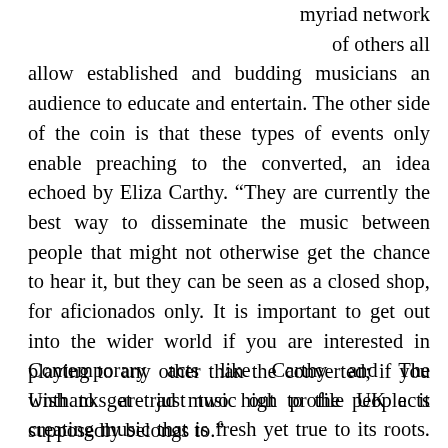myriad network of others all allow established and budding musicians an audience to educate and entertain. The other side of the coin is that these types of events only enable preaching to the converted, an idea echoed by Eliza Carthy. “They are currently the best way to disseminate the music between people that might not otherwise get the chance to hear it, but they can be seen as a closed shop, for aficionados only. It is important to get out into the wider world if you are interested in playing to any other than the converted; if you wish to get trad music out to the people it supposedly belongs to.”
Contemporary acts like Carthy and The Unthanks are just two high profile UK acts creating music that is fresh yet true to its roots. They provide a template of how relevant folk music can still be